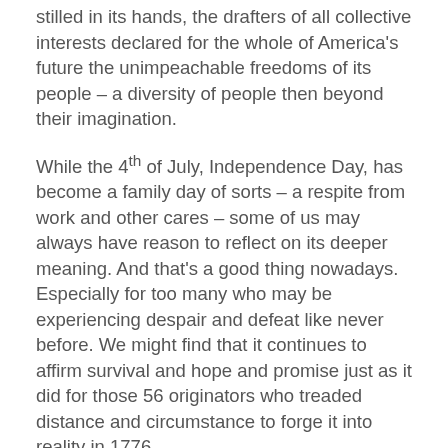stilled in its hands, the drafters of all collective interests declared for the whole of America's future the unimpeachable freedoms of its people – a diversity of people then beyond their imagination.
While the 4th of July, Independence Day, has become a family day of sorts – a respite from work and other cares – some of us may always have reason to reflect on its deeper meaning.  And that's a good thing nowadays.  Especially for too many who may be experiencing despair and defeat like never before.  We might find that it continues to affirm survival and hope and promise just as it did for those 56 originators who treaded distance and circumstance to forge it into reality in 1776.
For organizations like the NIA, those affirmations continue to drive the pursuit of full potential and opportunity of all children regardless of the choices or circumstances of their parents.  Those affirmations continue to prioritize the pursuit of new ideas in restoring individuals and families victimized by